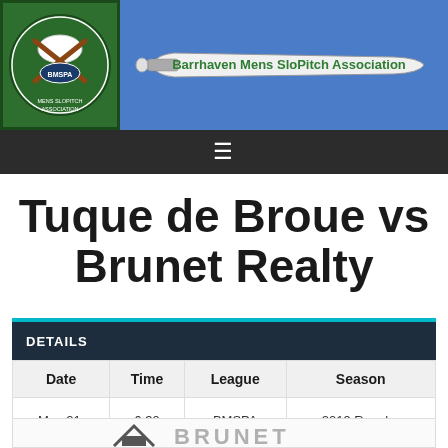[Figure (logo): Barrhaven Mens SloPitch Association logo with baseball and crossed bats on green background, with bat graphic and association name text]
≡
Tuque de Broue vs Brunet Realty
| Date | Time | League | Season |
| --- | --- | --- | --- |
| May 21, 2019 | 6:30 pm | BMSPA League | 2019 Regular Season |
[Figure (logo): Brunet Realty logo partially visible at bottom of page]